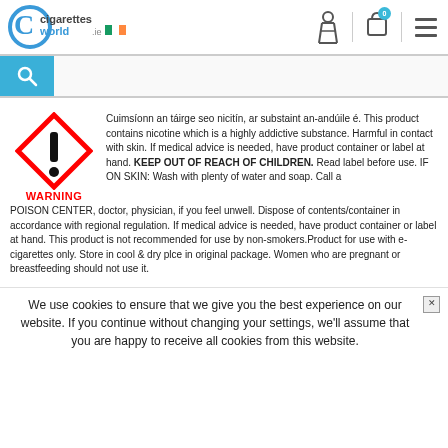[Figure (logo): Cigarettes World IE logo with stylized C and Irish flag]
[Figure (illustration): Navigation icons: person/account, shopping bag with 0 badge, hamburger menu]
[Figure (illustration): Search bar with blue search button icon]
[Figure (illustration): Red diamond GHS exclamation warning hazard symbol]
WARNING
Cuimsíonn an táirge seo nicitín, ar substaint an-andúile é. This product contains nicotine which is a highly addictive substance. Harmful in contact with skin. If medical advice is needed, have product container or label at hand. KEEP OUT OF REACH OF CHILDREN. Read label before use. IF ON SKIN: Wash with plenty of water and soap. Call a POISON CENTER, doctor, physician, if you feel unwell. Dispose of contents/container in accordance with regional regulation. If medical advice is needed, have product container or label at hand. This product is not recommended for use by non-smokers.Product for use with e-cigarettes only. Store in cool & dry plce in original package. Women who are pregnant or breastfeeding should not use it.
We use cookies to ensure that we give you the best experience on our website. If you continue without changing your settings, we'll assume that you are happy to receive all cookies from this website.